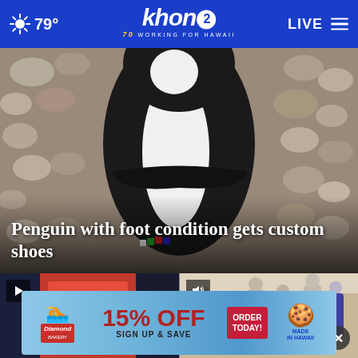79° | KHON2 Working for Hawaii | LIVE
[Figure (photo): Close-up photo of a penguin with a colorful bead bracelet on its foot, standing on pebbles/rocks]
Penguin with foot condition gets custom shoes
[Figure (screenshot): Video thumbnail showing a computer screen with red background, play button icon overlay]
[Figure (photo): Photo of people at an indoor event/gathering with volume icon overlay and close button]
[Figure (other): Advertisement banner: Diamond Bakery 15% OFF Sign Up & Save, Order Today, Made in Hawaii]